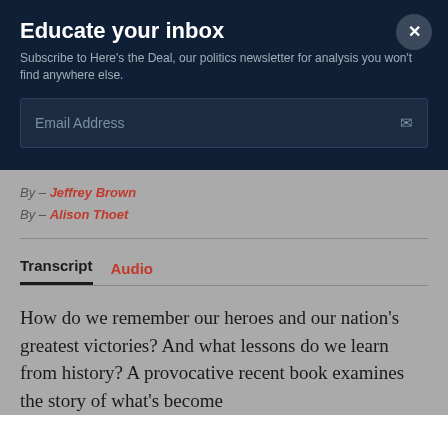Educate your inbox
Subscribe to Here's the Deal, our politics newsletter for analysis you won't find anywhere else.
Email Address
By – Jeffrey Brown
By – Alison Thoet
Transcript   Audio
How do we remember our heroes and our nation's greatest victories? And what lessons do we learn from history? A provocative recent book examines the story of what's become